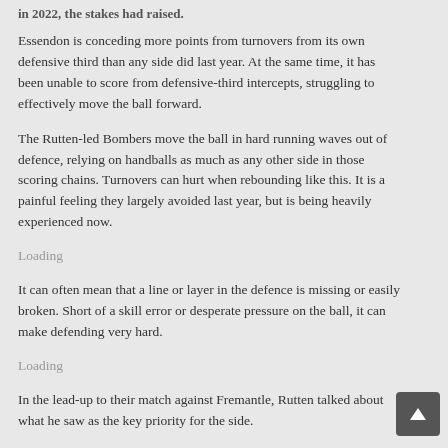in 2022, the stakes had raised.
Essendon is conceding more points from turnovers from its own defensive third than any side did last year. At the same time, it has been unable to score from defensive-third intercepts, struggling to effectively move the ball forward.
The Rutten-led Bombers move the ball in hard running waves out of defence, relying on handballs as much as any other side in those scoring chains. Turnovers can hurt when rebounding like this. It is a painful feeling they largely avoided last year, but is being heavily experienced now.
Loading
It can often mean that a line or layer in the defence is missing or easily broken. Short of a skill error or desperate pressure on the ball, it can make defending very hard.
Loading
In the lead-up to their match against Fremantle, Rutten talked about what he saw as the key priority for the side.